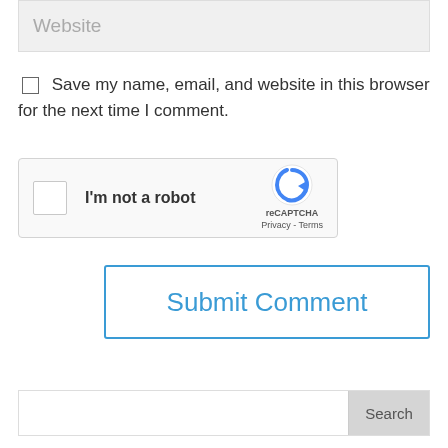Website
Save my name, email, and website in this browser for the next time I comment.
[Figure (screenshot): reCAPTCHA widget with checkbox labeled 'I'm not a robot' and reCAPTCHA logo with Privacy and Terms links]
Submit Comment
Search